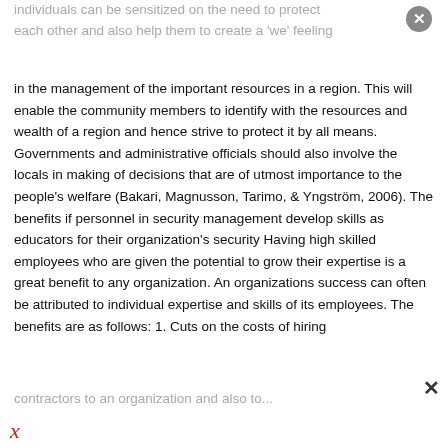individuals can be sensitized on the need to protect each other and also help them to create a 'we' feeling in the management of the important resources in a region. This will enable the community members to identify with the resources and wealth of a region and hence strive to protect it by all means. Governments and administrative officials should also involve the locals in making of decisions that are of utmost importance to the people's welfare (Bakari, Magnusson, Tarimo, & Yngström, 2006). The benefits if personnel in security management develop skills as educators for their organization's security Having high skilled employees who are given the potential to grow their expertise is a great benefit to any organization. An organizations success can often be attributed to individual expertise and skills of its employees. The benefits are as follows: 1. Cuts on the costs of hiring contractors...